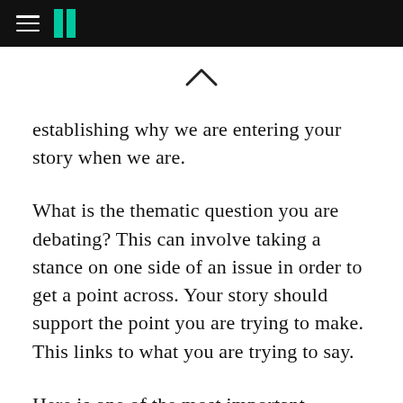HuffPost navigation header
establishing why we are entering your story when we are.
What is the thematic question you are debating? This can involve taking a stance on one side of an issue in order to get a point across. Your story should support the point you are trying to make. This links to what you are trying to say.
Here is one of the most important questions I ask my clients and others I work with: what does your central character want? My next question: why